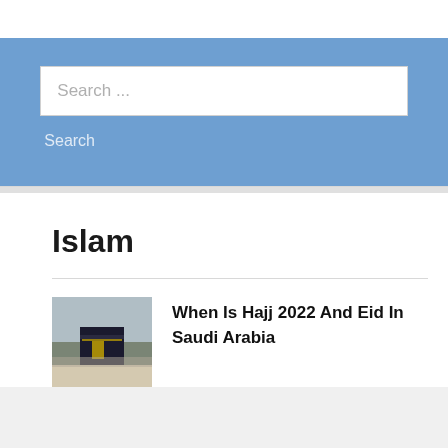[Figure (screenshot): Search bar widget with text input showing 'Search ...' placeholder and a Search button below, set against a steel-blue background]
Islam
[Figure (photo): Thumbnail photo of the Kaaba in Mecca, Saudi Arabia]
When Is Hajj 2022 And Eid In Saudi Arabia